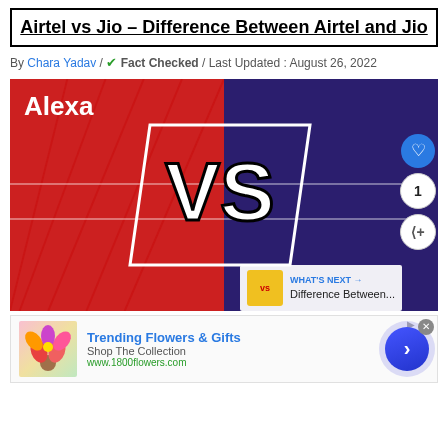Airtel vs Jio – Difference Between Airtel and Jio
By Chara Yadav / ✔ Fact Checked / Last Updated : August 26, 2022
[Figure (illustration): VS graphic showing red (Airtel) vs dark purple (Jio) sides with large 'VS' text in a parallelogram, Alexa label top-left, social buttons (heart, 1, share) on right, and WHAT'S NEXT overlay bottom-right]
[Figure (infographic): Advertisement banner: Trending Flowers & Gifts – Shop The Collection – www.1800flowers.com, with flower image on left and blue circular arrow button on right]